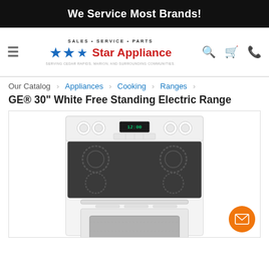We Service Most Brands!
[Figure (logo): Star Appliance logo with blue stars, red company name, tagline SALES · SERVICE · PARTS, and subtext SERVING CEDAR RAPIDS, MARION, AND SURROUNDING COMMUNITIES.]
Our Catalog › Appliances › Cooking › Ranges ›
GE® 30" White Free Standing Electric Range
[Figure (photo): White GE 30-inch free standing electric range with smooth ceramic cooktop, oven control panel with digital display and knobs, and oven window visible below.]